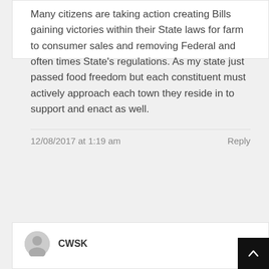Many citizens are taking action creating Bills gaining victories within their State laws for farm to consumer sales and removing Federal and often times State's regulations. As my state just passed food freedom but each constituent must actively approach each town they reside in to support and enact as well.
12/08/2017 at 1:19 am
Reply
CWSK